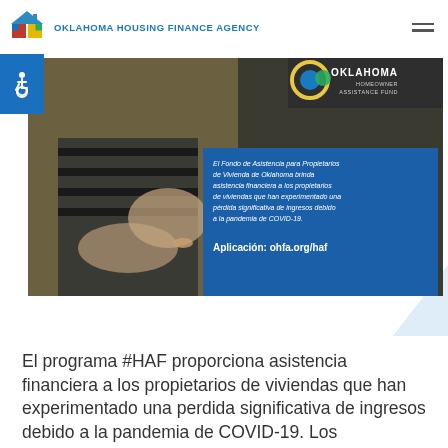OKLAHOMA HOUSING FINANCE AGENCY
[Figure (photo): Oklahoma Homeowner Assistance Fund promotional image showing a parent and child, with Spanish text overlay about financial assistance for homeowners affected by COVID-19 pandemic, and application URL ohfa.org/haf]
El programa #HAF proporciona asistencia financiera a los propietarios de viviendas que han experimentado una perdida significativa de ingresos debido a la pandemia de COVID-19. Los propietarios